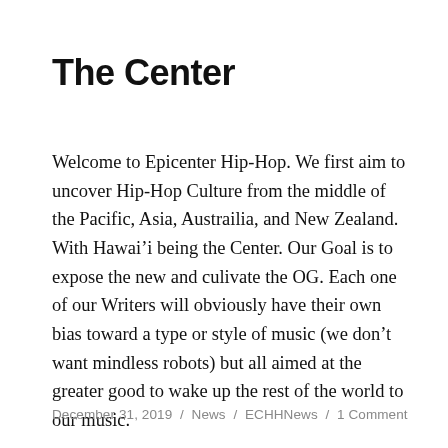The Center
Welcome to Epicenter Hip-Hop. We first aim to uncover Hip-Hop Culture from the middle of the Pacific, Asia, Austrailia, and New Zealand. With Hawai’i being the Center. Our Goal is to expose the new and culivate the OG. Each one of our Writers will obviously have their own bias toward a type or style of music (we don’t want mindless robots) but all aimed at the greater good to wake up the rest of the world to our music.
December 31, 2019 / News / ECHHNews / 1 Comment